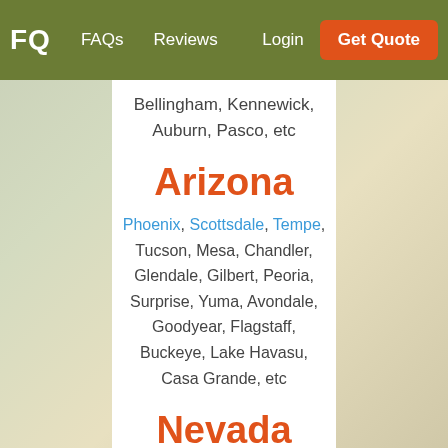FQ  FAQs  Reviews  Login  Get Quote
Bellingham, Kennewick, Auburn, Pasco, etc
Arizona
Phoenix, Scottsdale, Tempe, Tucson, Mesa, Chandler, Glendale, Gilbert, Peoria, Surprise, Yuma, Avondale, Goodyear, Flagstaff, Buckeye, Lake Havasu, Casa Grande, etc
Nevada